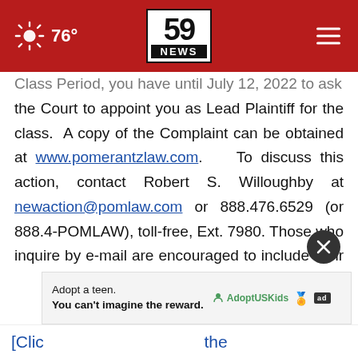76° | 59 NEWS
Class Period, you have until July 12, 2022 to ask the Court to appoint you as Lead Plaintiff for the class. A copy of the Complaint can be obtained at www.pomerantzlaw.com. To discuss this action, contact Robert S. Willoughby at newaction@pomlaw.com or 888.476.6529 (or 888.4-POMLAW), toll-free, Ext. 7980. Those who inquire by e-mail are encouraged to include their mailing address, telephone number, and the number of shares purchased.
[Figure (other): Advertisement banner: Adopt a teen. You can't imagine the reward. AdoptUSKids logo and ad badge.]
[Clic ... the